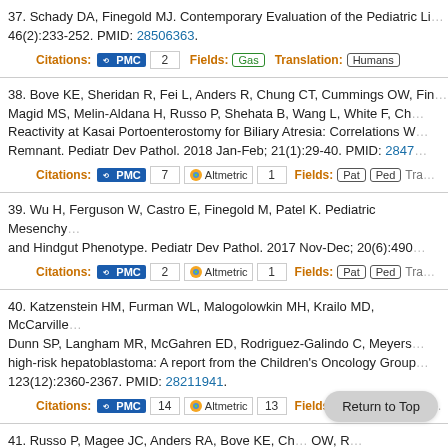37. Schady DA, Finegold MJ. Contemporary Evaluation of the Pediatric Li... 46(2):233-252. PMID: 28506363.
Citations: PMC 2 Fields: Gas Translation: Humans
38. Bove KE, Sheridan R, Fei L, Anders R, Chung CT, Cummings OW, Fin... Magid MS, Melin-Aldana H, Russo P, Shehata B, Wang L, White F, Ch... Reactivity at Kasai Portoenterostomy for Biliary Atresia: Correlations W... Remnant. Pediatr Dev Pathol. 2018 Jan-Feb; 21(1):29-40. PMID: 2847...
Citations: PMC 7 Altmetric 1 Fields: Pat Ped Tra...
39. Wu H, Ferguson W, Castro E, Finegold M, Patel K. Pediatric Mesenchy... and Hindgut Phenotype. Pediatr Dev Pathol. 2017 Nov-Dec; 20(6):490...
Citations: PMC 2 Altmetric 1 Fields: Pat Ped Tra...
40. Katzenstein HM, Furman WL, Malogolowkin MH, Krailo MD, McCarville... Dunn SP, Langham MR, McGahren ED, Rodriguez-Galindo C, Meyers... high-risk hepatoblastoma: A report from the Children's Oncology Group... 123(12):2360-2367. PMID: 28211941.
Citations: PMC 14 Altmetric 13 Fields: Neo Translation:...
41. Russo P, Magee JC, Anders RA, Bove KE, Ch... OW, R... Melin-Aldana H, Ranganathan S, Shehata BM, Wang LL, White FV, Ch...